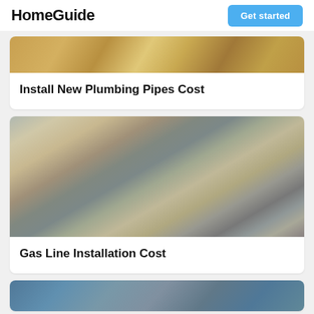HomeGuide
[Figure (photo): Plumber hands with measuring tape - partial view cropped at top]
Install New Plumbing Pipes Cost
[Figure (photo): Close-up of hands using pliers on a gas line fitting with brass connector and flexible hose]
Gas Line Installation Cost
[Figure (photo): Person kneeling near ground - partial view at bottom of page]